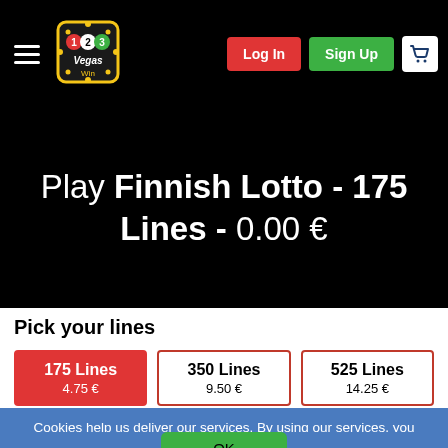[Figure (screenshot): 123Vegas Win logo with decorative diamond sign and colored numbers]
Log In
Sign Up
Play Finnish Lotto - 175 Lines - 0.00 €
Pick your lines
175 Lines
4.75 €
350 Lines
9.50 €
525 Lines
14.25 €
Cookies help us deliver our services. By using our services, you agree to our use of cookies.
OK